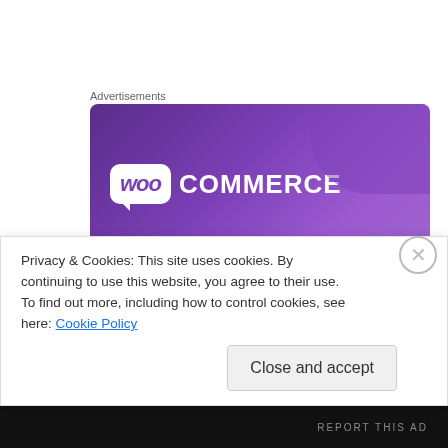Advertisements
[Figure (illustration): WooCommerce advertisement banner with purple gradient background, WooCommerce logo, and tagline 'The most customizable eCommerce platform']
Finally, “American Ghoul” has plenty of humor enclosed in Howard’s interesting ghoulish perspective. He loves to
Privacy & Cookies: This site uses cookies. By continuing to use this website, you agree to their use.
To find out more, including how to control cookies, see here: Cookie Policy
Close and accept